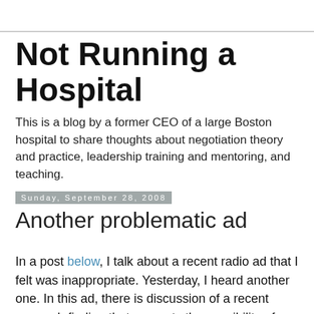Not Running a Hospital
This is a blog by a former CEO of a large Boston hospital to share thoughts about negotiation theory and practice, leadership training and mentoring, and teaching.
Sunday, September 28, 2008
Another problematic ad
In a post below, I talk about a recent radio ad that I felt was inappropriate. Yesterday, I heard another one. In this ad, there is discussion of a recent research finding that presents the possibility of being able to detect cancer cells in the bloodstream of patients. This is truly great stuff, in that it might someday enable doctors to know if they were successful in removing or killing all of the cancer cells in a person or might enable them to obtain earlier detection of cancer than is currently possible. The people who did this research are outstanding scientists. We all are so fortunate